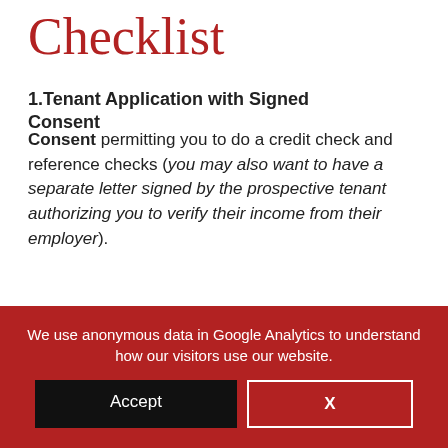Checklist
1.Tenant Application with Signed Consent
permitting you to do a credit check and reference checks (you may also want to have a separate letter signed by the prospective tenant authorizing you to verify their income from their employer).
Most states and provinces have application forms that are ok to use for that area or a local landlord association will usually have one you can use that is
We use anonymous data in Google Analytics to understand how our visitors use our website.
Accept
X